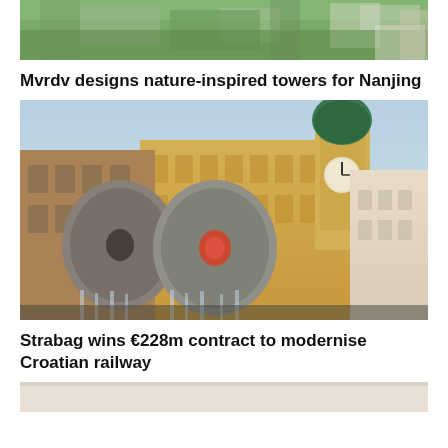[Figure (photo): Aerial view of a city with green trees and buildings, partial view at top of page]
Mvrdv designs nature-inspired towers for Nanjing
[Figure (photo): Fountain with large millstone wheels with water flowing, European-style buildings and a clock tower in the background, likely in Rijeka, Croatia]
Strabag wins €228m contract to modernise Croatian railway
[Figure (photo): Partially visible image at bottom of page with light beige/grey tones]